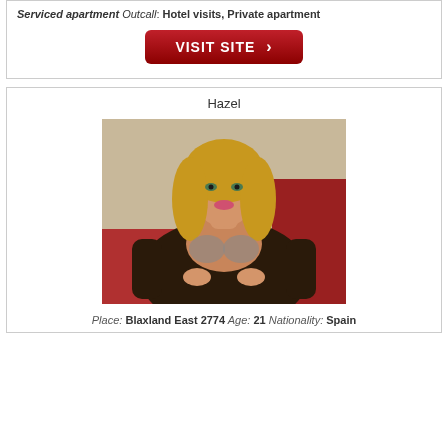Serviced apartment Outcall: Hotel visits, Private apartment
[Figure (other): Red visit site button]
Hazel
[Figure (photo): Photo of a young woman with blonde hair sitting on a red seat]
Place: Blaxland East 2774 Age: 21 Nationality: Spain